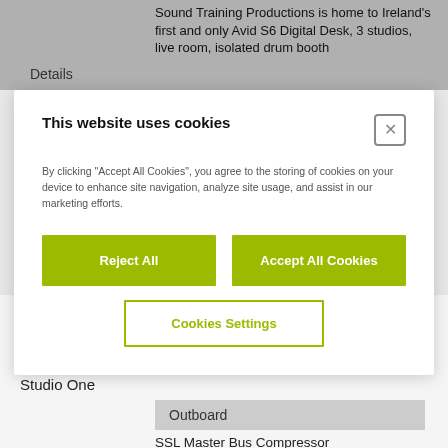Sound Training Productions is home to Ireland's first and only Avid S6 Digital Desk, 3 studios, live room, isolated drum booth
Details
This website uses cookies
By clicking "Accept All Cookies", you agree to the storing of cookies on your device to enhance site navigation, analyze site usage, and assist in our marketing efforts.
Reject All
Accept All Cookies
Cookies Settings
Genelec 1031A x2
Genelec 7070 Subwoofer
XMON monitoring system
Furman HR-6 headphone system
Studio One
Outboard
SSL Master Bus Compressor